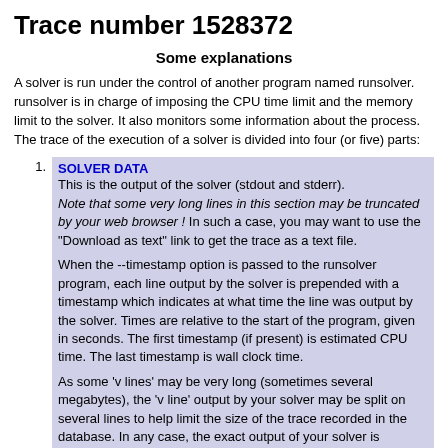Trace number 1528372
Some explanations
A solver is run under the control of another program named runsolver. runsolver is in charge of imposing the CPU time limit and the memory limit to the solver. It also monitors some information about the process. The trace of the execution of a solver is divided into four (or five) parts:
SOLVER DATA
This is the output of the solver (stdout and stderr).
Note that some very long lines in this section may be truncated by your web browser ! In such a case, you may want to use the "Download as text" link to get the trace as a text file.

When the --timestamp option is passed to the runsolver program, each line output by the solver is prepended with a timestamp which indicates at what time the line was output by the solver. Times are relative to the start of the program, given in seconds. The first timestamp (if present) is estimated CPU time. The last timestamp is wall clock time.

As some 'v lines' may be very long (sometimes several megabytes), the 'v line' output by your solver may be split on several lines to help limit the size of the trace recorded in the database. In any case, the exact output of your solver is preserved in a trace file.
VERIFIER DATA
The output of the solver is piped to a verifier program which will